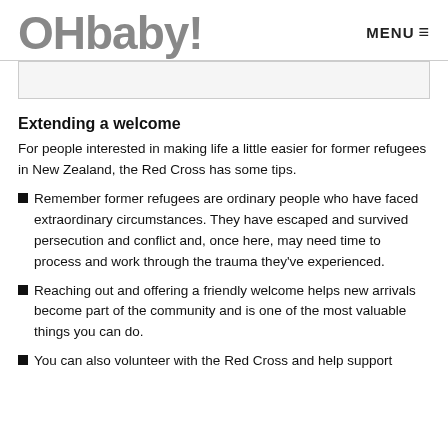OHbaby! MENU
Extending a welcome
For people interested in making life a little easier for former refugees in New Zealand, the Red Cross has some tips.
Remember former refugees are ordinary people who have faced extraordinary circumstances. They have escaped and survived persecution and conflict and, once here, may need time to process and work through the trauma they've experienced.
Reaching out and offering a friendly welcome helps new arrivals become part of the community and is one of the most valuable things you can do.
You can also volunteer with the Red Cross and help support